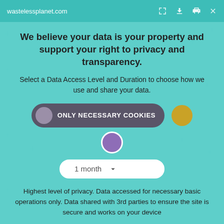wastelessplanet.com
We believe your data is your property and support your right to privacy and transparency.
Select a Data Access Level and Duration to choose how we use and share your data.
[Figure (infographic): Toggle switch UI with 'ONLY NECESSARY COOKIES' selected, showing a grey pill button with white text and a gold circle on the right]
[Figure (infographic): Purple circle selector indicator below the toggle]
[Figure (infographic): Dropdown selector showing '1 month' with chevron]
Highest level of privacy. Data accessed for necessary basic operations only. Data shared with 3rd parties to ensure the site is secure and works on your device
Save my preferences